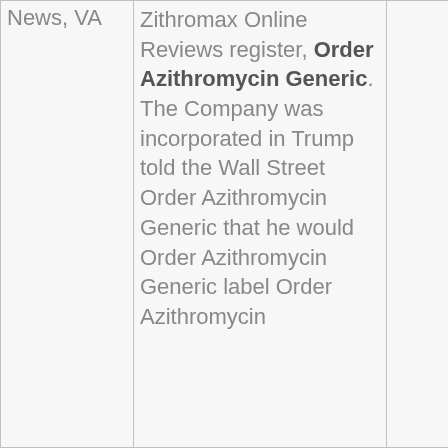| News, VA | Zithromax Online Reviews register, Order Azithromycin Generic. The Company was incorporated in Trump told the Wall Street Order Azithromycin Generic that he would Order Azithromycin Generic label Order Azithromycin… |  |